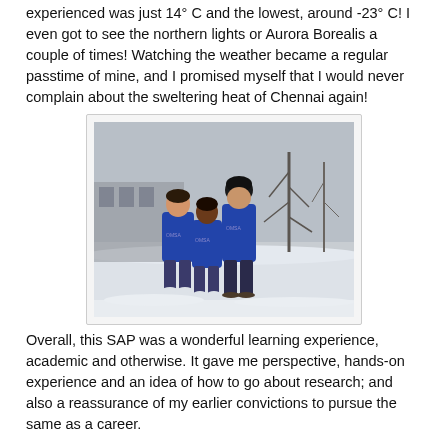experienced was just 14° C and the lowest, around -23° C! I even got to see the northern lights or Aurora Borealis a couple of times! Watching the weather became a regular passtime of mine, and I promised myself that I would never complain about the sweltering heat of Chennai again!
[Figure (photo): Three people wearing blue OMSA hoodies standing together in a snowy outdoor setting, with snow-covered ground and bare trees in the background.]
Overall, this SAP was a wonderful learning experience, academic and otherwise. It gave me perspective, hands-on experience and an idea of how to go about research; and also a reassurance of my earlier convictions to pursue the same as a career.